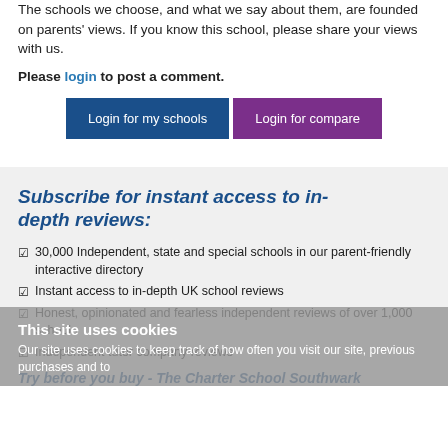The schools we choose, and what we say about them, are founded on parents' views. If you know this school, please share your views with us.
Please login to post a comment.
[Figure (screenshot): Two buttons: 'Login for my schools' (dark blue) and 'Login for compare' (purple)]
Subscribe for instant access to in-depth reviews:
30,000 Independent, state and special schools in our parent-friendly interactive directory
Instant access to in-depth UK school reviews
Honest, opinionated and fearless independent reviews of over 1,000 schools
Independent tutor company reviews
Try before you buy - The Charter School Southwark
This site uses cookies
Our site uses cookies to keep track of how often you visit our site, previous purchases and to